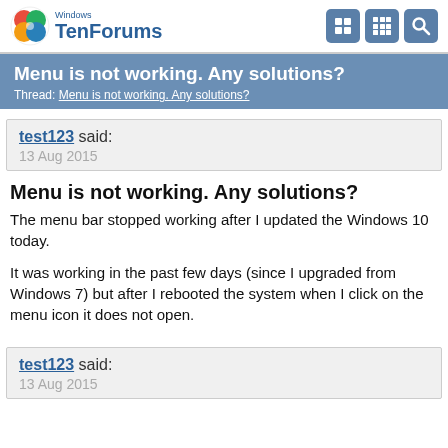Windows TenForums
Menu is not working. Any solutions?
Thread: Menu is not working. Any solutions?
test123 said:
13 Aug 2015
Menu is not working. Any solutions?
The menu bar stopped working after I updated the Windows 10 today.
It was working in the past few days (since I upgraded from Windows 7) but after I rebooted the system when I click on the menu icon it does not open.
test123 said:
13 Aug 2015